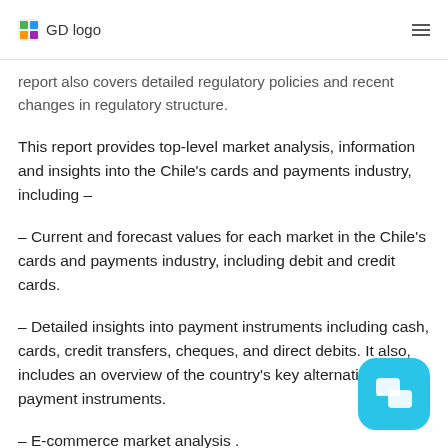GD logo
report also covers detailed regulatory policies and recent changes in regulatory structure.
This report provides top-level market analysis, information and insights into the Chile's cards and payments industry, including –
– Current and forecast values for each market in the Chile's cards and payments industry, including debit and credit cards.
– Detailed insights into payment instruments including cash, cards, credit transfers, cheques, and direct debits. It also, includes an overview of the country's key alternative payment instruments.
– E-commerce market analysis .
– Analysis of various market drivers and regulations